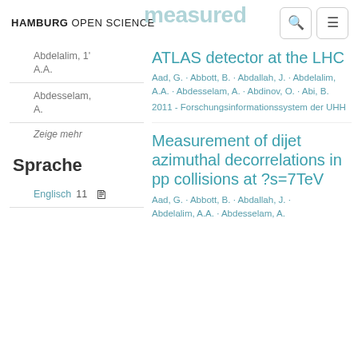HAMBURG OPEN SCIENCE
Abdelalim, 1'
A.A.
Abdesselam,
A.
Zeige mehr
Sprache
Englisch  11
ATLAS detector at the LHC
Aad, G. · Abbott, B. · Abdallah, J. · Abdelalim, A.A. · Abdesselam, A. · Abdinov, O. · Abi, B.
2011 - Forschungsinformationssystem der UHH
Measurement of dijet azimuthal decorrelations in pp collisions at ?s=7TeV
Aad, G. · Abbott, B. · Abdallah, J. · Abdelalim, A.A. · Abdesselam, A.